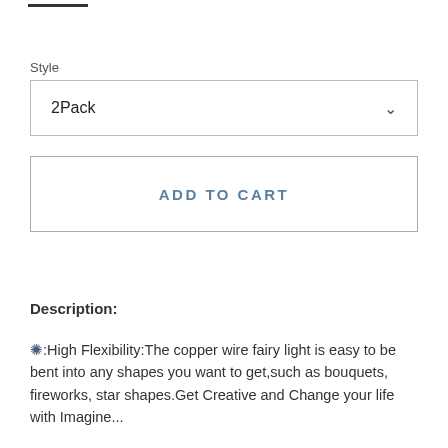Style
2Pack
ADD TO CART
Description:
❊:High Flexibility:The copper wire fairy light is easy to be bent into any shapes you want to get,such as bouquets, fireworks, star shapes.Get Creative and Change your life with Imagine...